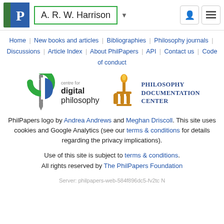A. R. W. Harrison
Home | New books and articles | Bibliographies | Philosophy journals | Discussions | Article Index | About PhilPapers | API | Contact us | Code of conduct
[Figure (logo): Centre for Digital Philosophy logo and Philosophy Documentation Center logo]
PhilPapers logo by Andrea Andrews and Meghan Driscoll. This site uses cookies and Google Analytics (see our terms & conditions for details regarding the privacy implications).
Use of this site is subject to terms & conditions. All rights reserved by The PhilPapers Foundation
Server: philpapers-web-584f896dc5-fv2tc N